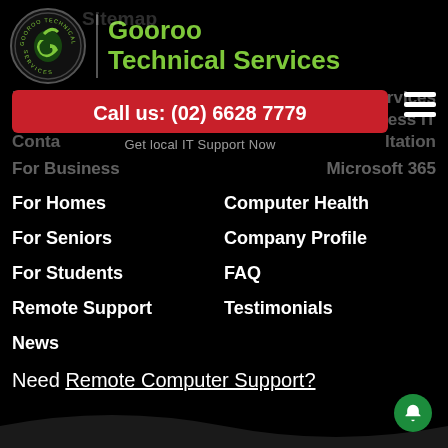Gooroo Technical Services
Call us: (02) 6628 7779
Get local IT Support Now
Home
Our Services
Why Us
Business IT
Contact
Consultation
For Business
Microsoft 365
For Homes
Computer Health
For Seniors
Company Profile
For Students
FAQ
Remote Support
Testimonials
News
Need Remote Computer Support?